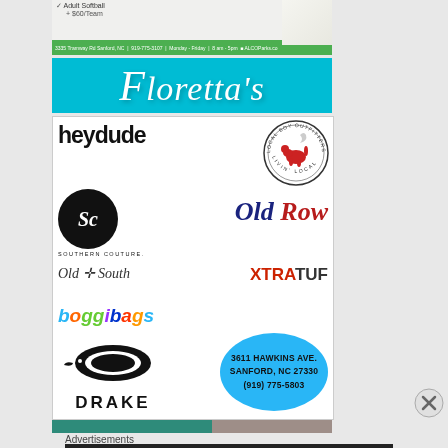[Figure (advertisement): Partial top advertisement for Lee County Parks and Recreation showing Adult Softball $60/Team text and green info bar with address: 3335 Tramway Rd Sanford NC, 919-775-3107, Monday-Friday 8am-5pm]
[Figure (advertisement): Floretta's store advertisement with cyan/turquoise background and white italic script text]
[Figure (advertisement): Floretta's brand collage ad showing multiple brand logos: heydude, Local Boy Outfitters, Southern Couture, Old Row, Old South, XtraTuf, Bogg Bags, Drake waterfowl, with contact info circle: 3611 Hawkins Ave, Sanford NC 27330, (919) 775-5803]
Advertisements
[Figure (advertisement): Seamless food delivery advertisement showing pizza with ORDER NOW button]